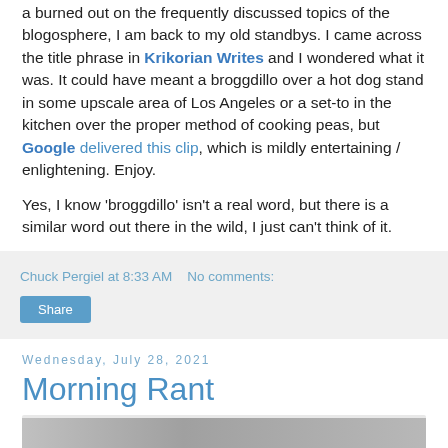a burned out on the frequently discussed topics of the blogosphere, I am back to my old standbys. I came across the title phrase in Krikorian Writes and I wondered what it was. It could have meant a broggdillo over a hot dog stand in some upscale area of Los Angeles or a set-to in the kitchen over the proper method of cooking peas, but Google delivered this clip, which is mildly entertaining / enlightening. Enjoy.
Yes, I know 'broggdillo' isn't a real word, but there is a similar word out there in the wild, I just can't think of it.
Chuck Pergiel at 8:33 AM   No comments:
Share
Wednesday, July 28, 2021
Morning Rant
[Figure (photo): Partial view of an image at the bottom of the page, mostly gray/dark]